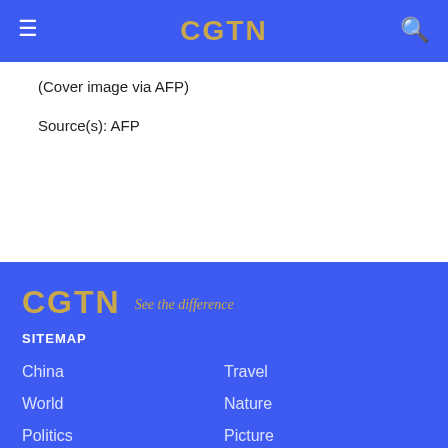CGTN
(Cover image via AFP)
Source(s): AFP
CGTN See the difference
SITEMAP
China
Travel
World
Nature
Politics
Picture
Business
Video
Opinions
Specials
Tech & Sci
Live